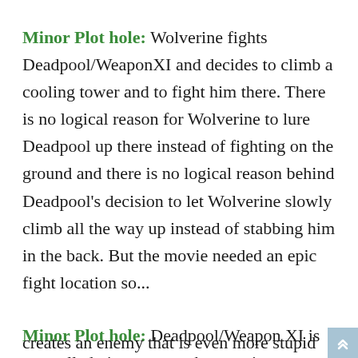Minor Plot hole: Wolverine fights Deadpool/WeaponXI and decides to climb a cooling tower and to fight him there. There is no logical reason for Wolverine to lure Deadpool up there instead of fighting on the ground and there is no logical reason behind Deadpool's decision to let Wolverine slowly climb all the way up instead of stabbing him in the back. But the movie needed an epic fight location so...
Minor Plot hole: Deadpool/Weapon XI is controlled via computer by entering keywords on a keypad like ENGAGE and DECAPITATE. This creates an enemy that is even more stupid than...